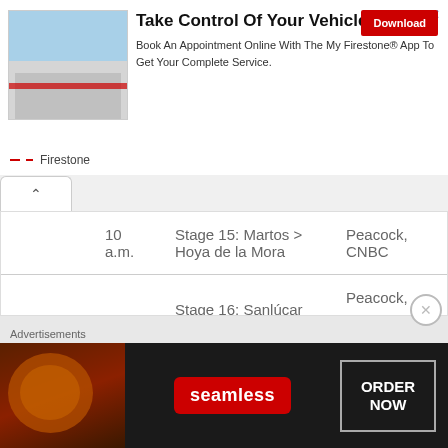[Figure (screenshot): Firestone advertisement banner: Take Control Of Your Vehicle. Shows a Firestone store building photo on left, bold headline, body text about booking appointment with My Firestone App, and a red Download button. Firestone logo with red dashes at bottom left.]
| Date | Time | Stage | Network |
| --- | --- | --- | --- |
|  | 10 a.m. | Stage 15: Martos > Hoya de la Mora | Peacock, CNBC |
| Tues., Sept. 6 | 9 a.m. | Stage 16: Sanlúcar de Barrameda / Tomares | Peacock, Olympic Channel: Home of Team USA |
Advertisements
[Figure (screenshot): Seamless food delivery advertisement. Dark background with pizza image on left, Seamless red badge logo in center, ORDER NOW text in white outlined box on right.]